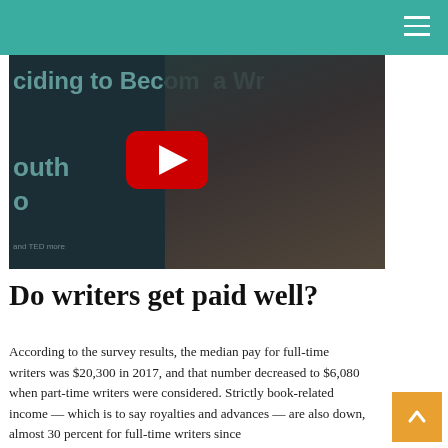[Figure (screenshot): YouTube video thumbnail showing a woman in a white off-shoulder dress speaking on a dark stage, with text overlay partially visible reading 'ciding to Become a Wr' and 'outh' and 'o'. A large red YouTube play button is centered on the image.]
Do writers get paid well?
According to the survey results, the median pay for full-time writers was $20,300 in 2017, and that number decreased to $6,080 when part-time writers were considered. Strictly book-related income — which is to say royalties and advances — are also down, almost 30 percent for full-time writers since